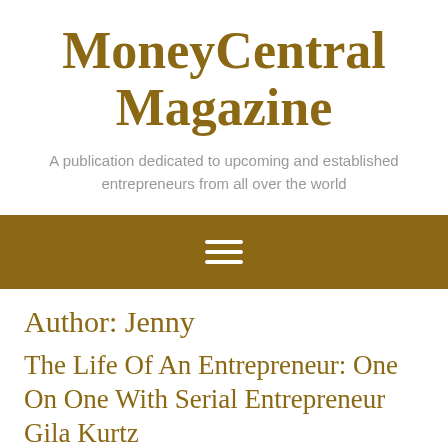MoneyCentral Magazine
A publication dedicated to upcoming and established entrepreneurs from all over the world
[Figure (other): Gold navigation bar with hamburger menu icon (three white horizontal lines)]
Author: Jenny
The Life Of An Entrepreneur: One On One With Serial Entrepreneur Gila Kurtz